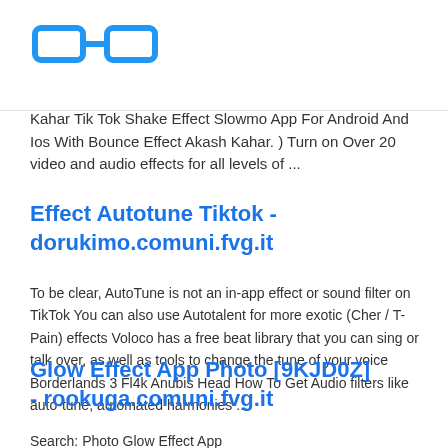[Figure (logo): Blue glasses/spectacles icon logo]
Kahar Tik Tok Shake Effect Slowmo App For Android And Ios With Bounce Effect Akash Kahar. ) Turn on Over 20 video and audio effects for all levels of ...
Effect Autotune Tiktok - dorukimo.comuni.fvg.it
To be clear, AutoTune is not an in-app effect or sound filter on TikTok You can also use Autotalent for more exotic (Cher / T-Pain) effects Voloco has a free beat library that you can sing or talk over, as well as tools to change the tune of your voice Borderlands 3 Fl4k Anubis Head How To Get Audio filters like auto-tune, automated harmonies ...
Glow Effect App Photo [9KJD0Z] - rookuga.comuni.fvg.it
Search: Photo Glow Effect App